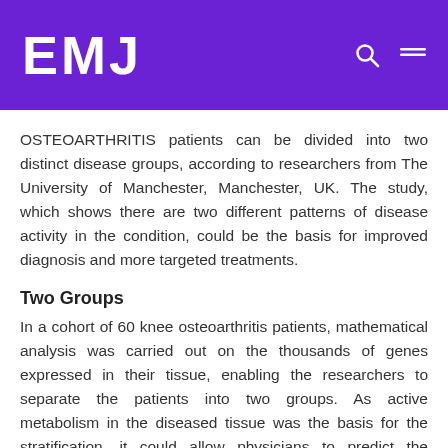EMJ
OSTEOARTHRITIS patients can be divided into two distinct disease groups, according to researchers from The University of Manchester, Manchester, UK. The study, which shows there are two different patterns of disease activity in the condition, could be the basis for improved diagnosis and more targeted treatments.
Two Groups
In a cohort of 60 knee osteoarthritis patients, mathematical analysis was carried out on the thousands of genes expressed in their tissue, enabling the researchers to separate the patients into two groups. As active metabolism in the diseased tissue was the basis for the stratification, it could allow physicians to predict the responses different patients